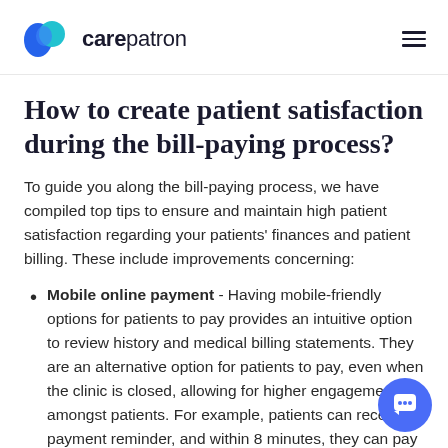carepatron
How to create patient satisfaction during the bill-paying process?
To guide you along the bill-paying process, we have compiled top tips to ensure and maintain high patient satisfaction regarding your patients' finances and patient billing. These include improvements concerning:
Mobile online payment - Having mobile-friendly options for patients to pay provides an intuitive option to review history and medical billing statements. They are an alternative option for patients to pay, even when the clinic is closed, allowing for higher engagement amongst patients. For example, patients can receive a payment reminder, and within 8 minutes, they can pay the bill from